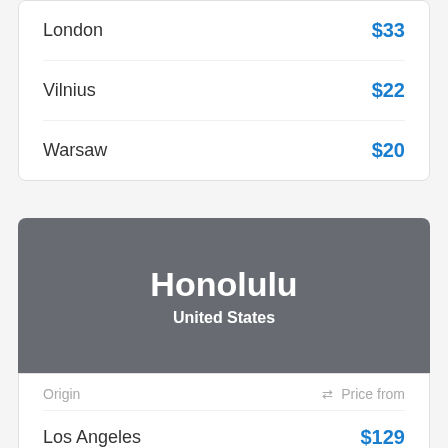| Origin | Price from |
| --- | --- |
| London | $33 |
| Vilnius | $22 |
| Warsaw | $20 |
Honolulu
United States
| Origin | ⇄ Price from |
| --- | --- |
| Los Angeles | $129 |
| San Francisco | $131 |
| New York | $276 |